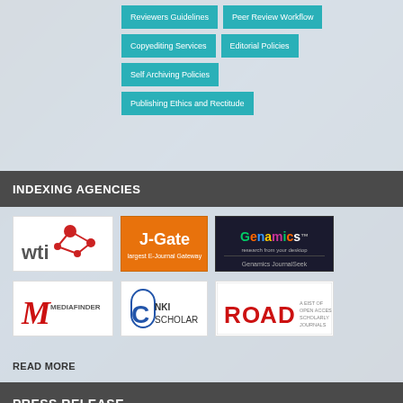Reviewers Guidelines
Peer Review Workflow
Copyediting Services
Editorial Policies
Self Archiving Policies
Publishing Ethics and Rectitude
INDEXING AGENCIES
[Figure (logo): WTI logo - red network nodes on white background with wti text]
[Figure (logo): J-Gate logo - orange background with J-Gate text and tagline]
[Figure (logo): Genamics JournalSeek logo - dark background with colorful text]
[Figure (logo): Mediafinder logo - red M with Mediafinder text]
[Figure (logo): NKI Scholar logo - circular C icon with NKI Scholar text]
[Figure (logo): ROAD logo - open access red text with small print]
READ MORE
PRESS RELEASE